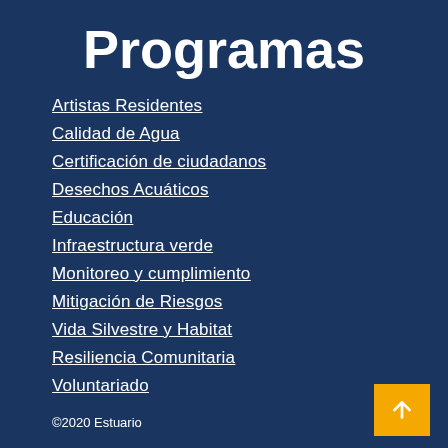Programas
Artistas Residentes
Calidad de Agua
Certificación de ciudadanos
Desechos Acuáticos
Educación
Infraestructura verde
Monitoreo y cumplimiento
Mitigación de Riesgos
Vida Silvestre y Habitat
Resiliencia Comunitaria
Voluntariado
©2020 Estuario